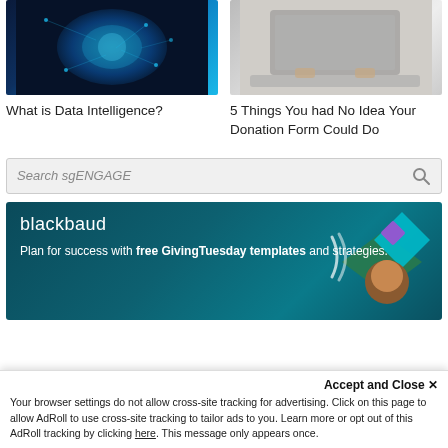[Figure (photo): Blue glowing brain digital illustration on dark background]
[Figure (photo): Person typing on laptop keyboard, hands visible]
What is Data Intelligence?
5 Things You had No Idea Your Donation Form Could Do
[Figure (other): Search box with text 'Search sgENGAGE' and magnifying glass icon]
[Figure (other): Blackbaud advertisement banner: Plan for success with free GivingTuesday templates and strategies. Shows woman and decorative shapes.]
Accept and Close ✕
Your browser settings do not allow cross-site tracking for advertising. Click on this page to allow AdRoll to use cross-site tracking to tailor ads to you. Learn more or opt out of this AdRoll tracking by clicking here. This message only appears once.